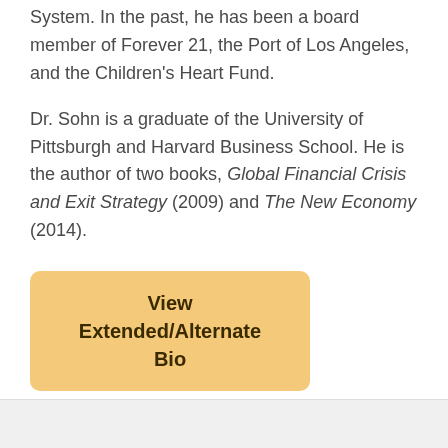System. In the past, he has been a board member of Forever 21, the Port of Los Angeles, and the Children's Heart Fund.
Dr. Sohn is a graduate of the University of Pittsburgh and Harvard Business School. He is the author of two books, Global Financial Crisis and Exit Strategy (2009) and The New Economy (2014).
[Figure (other): A button/link element with orange-yellow background reading 'View Extended/Alternate Bio']